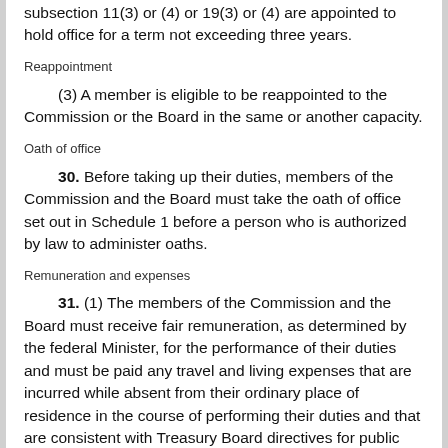subsection 11(3) or (4) or 19(3) or (4) are appointed to hold office for a term not exceeding three years.
Reappointment
(3) A member is eligible to be reappointed to the Commission or the Board in the same or another capacity.
Oath of office
30. Before taking up their duties, members of the Commission and the Board must take the oath of office set out in Schedule 1 before a person who is authorized by law to administer oaths.
Remuneration and expenses
31. (1) The members of the Commission and the Board must receive fair remuneration, as determined by the federal Minister, for the performance of their duties and must be paid any travel and living expenses that are incurred while absent from their ordinary place of residence in the course of performing their duties and that are consistent with Treasury Board directives for public servants.
Workers’ compensation